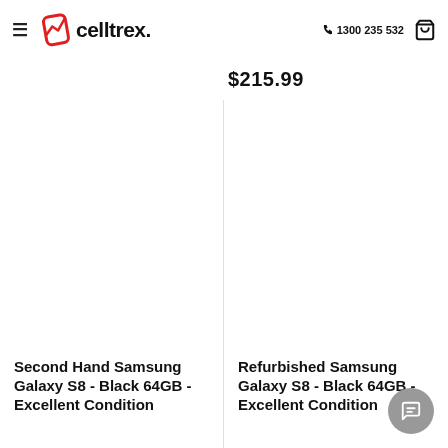celltrex. 1300 235 532
$215.99
Second Hand Samsung Galaxy S8 - Black 64GB - Excellent Condition
Refurbished Samsung Galaxy S8 - Black 64GB - Excellent Condition